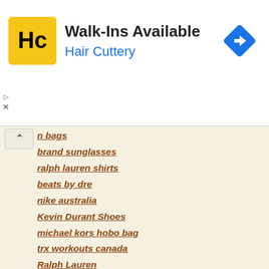[Figure (logo): Hair Cuttery advertisement banner with HC logo, 'Walk-Ins Available' text, 'Hair Cuttery' subtitle, and navigation icon]
n bags
brand sunglasses
ralph lauren shirts
beats by dre
nike australia
Kevin Durant Shoes
michael kors hobo bag
trx workouts canada
Ralph Lauren
abercrombie outlet
moncler down jackets
christian louboutin online
asics shoes Australia
moncler jacket